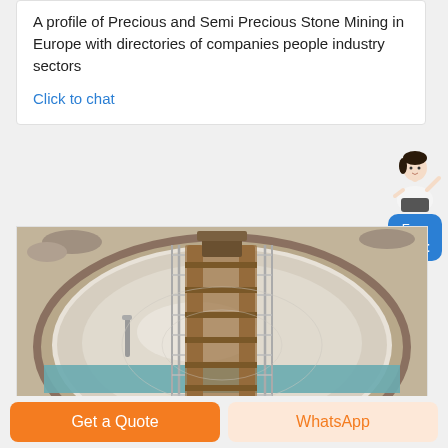A profile of Precious and Semi Precious Stone Mining in Europe with directories of companies people industry sectors
Click to chat
[Figure (photo): Aerial view of a large circular industrial mining tank or thickener with a metal walkway bridge crossing over it, containing liquid slurry, surrounded by earthen ground.]
Get a Quote
WhatsApp